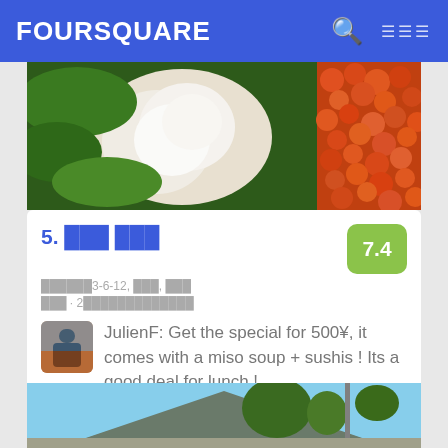FOURSQUARE
[Figure (photo): Close-up photo of Japanese seafood dish with scallops, greens, and salmon roe (ikura)]
5. 築地 すし酒場
中央区築地3-6-12, 中央区, 東京都
寿司屋 · 2人がここでチェックインしました
JulienF: Get the special for 500¥, it comes with a miso soup + sushis ! Its a good deal for lunch !
[Figure (photo): Photo of a traditional Japanese temple or shrine with tiled roof and trees against a blue sky]